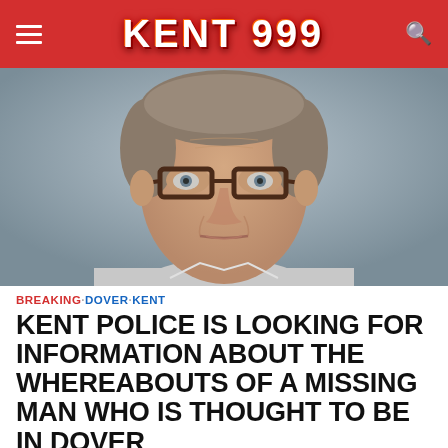KENT 999
[Figure (photo): Mugshot-style close-up photo of a middle-aged man with short grey-brown hair, wearing dark-framed rectangular glasses, looking directly at camera against a grey background.]
BREAKING · DOVER · KENT
KENT POLICE IS LOOKING FOR INFORMATION ABOUT THE WHEREABOUTS OF A MISSING MAN WHO IS THOUGHT TO BE IN DOVER
July 3, 2022